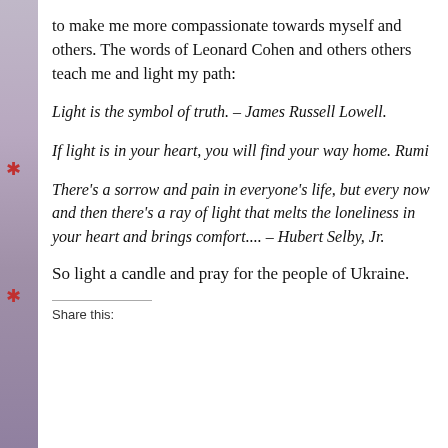to make me more compassionate towards myself and others. The words of Leonard Cohen and others others teach me and light my path:
Light is the symbol of truth. – James Russell Lowell.
If light is in your heart, you will find your way home. Rumi
There's a sorrow and pain in everyone's life, but every now and then there's a ray of light that melts the loneliness in your heart and brings comfort....  – Hubert Selby, Jr.
So light a candle and pray for the people of Ukraine.
Share this: